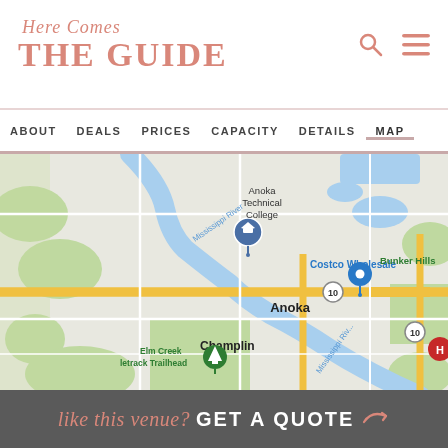Here Comes THE GUIDE
ABOUT   DEALS   PRICES   CAPACITY   DETAILS   MAP
[Figure (map): Google Maps screenshot showing Anoka, Minnesota area with Mississippi River, Anoka Technical College marker, Costco Wholesale, Bunker Hills, Champlin, Elm Creek Trailhead, and Mercy Hospital markers along Highway 10.]
like this venue? GET A QUOTE